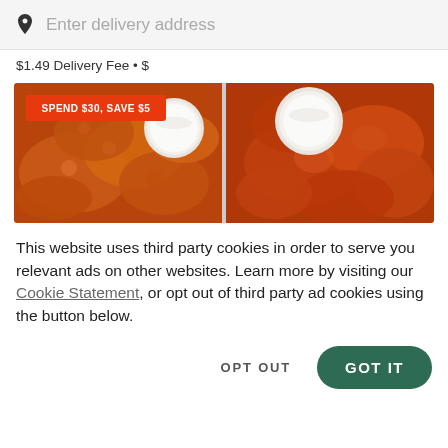Enter delivery address
$1.49 Delivery Fee • $
[Figure (photo): Promotional banner image showing chicken wings with dipping sauces, with an orange badge reading 'SPEND $30, SAVE $5']
This website uses third party cookies in order to serve you relevant ads on other websites. Learn more by visiting our Cookie Statement, or opt out of third party ad cookies using the button below.
OPT OUT
GOT IT